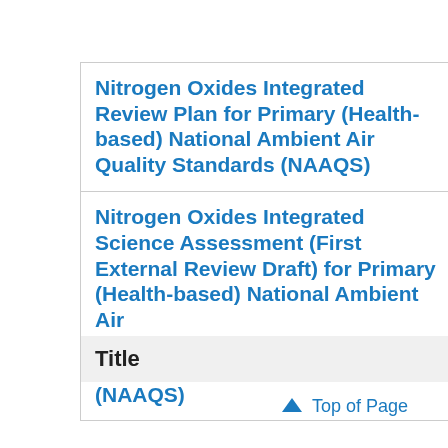Nitrogen Oxides Integrated Review Plan for Primary (Health-based) National Ambient Air Quality Standards (NAAQS)
Nitrogen Oxides Integrated Science Assessment (First External Review Draft) for Primary (Health-based) National Ambient Air Quality Standards (NAAQS)
Title
↑ Top of Page